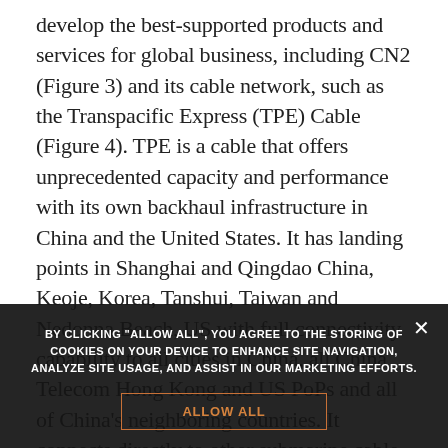develop the best-supported products and services for global business, including CN2 (Figure 3) and its cable network, such as the Transpacific Express (TPE) Cable (Figure 4). TPE is a cable that offers unprecedented capacity and performance with its own backhaul infrastructure in China and the United States. It has landing points in Shanghai and Qingdao China, Keoje, Korea, Tanshui, Taiwan and Nedonna Beach, US with full connectivity capability to all cities in China, all China Telecom Hong Kong and US PoPs and all of China's neighboring countries. It connects directly to other submarine cable systems including APCN2, SMW3, EFA, and E...
The FASTER cable system, a 9,000-km submarine cable system linking Japan and the West Coast of the US...
BY CLICKING "ALLOW ALL", YOU AGREE TO THE STORING OF COOKIES ON YOUR DEVICE TO ENHANCE SITE NAVIGATION, ANALYZE SITE USAGE, AND ASSIST IN OUR MARKETING EFFORTS.
ALLOW ALL